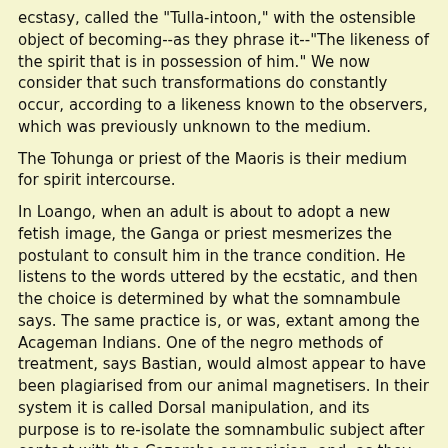ecstasy, called the "Tulla-intoon," with the ostensible object of becoming--as they phrase it--"The likeness of the spirit that is in possession of him." We now consider that such transformations do constantly occur, according to a likeness known to the observers, which was previously unknown to the medium.
The Tohunga or priest of the Maoris is their medium for spirit intercourse.
In Loango, when an adult is about to adopt a new fetish image, the Ganga or priest mesmerizes the postulant to consult him in the trance condition. He listens to the words uttered by the ecstatic, and then the choice is determined by what the somnambule says. The same practice is, or was, extant among the Acageman Indians. One of the negro methods of treatment, says Bastian, would almost appear to have been plagiarised from our animal magnetisers. In their system it is called Dorsal manipulation, and its purpose is to re-isolate the somnambulic subject after contact with the Cazembe or magician, and, as they say, for fear that the superabundance of his magical power should otherwise annihilate the victim or the subject, which looks as if they knew more than we do about matters perplexing us to-day. For this practice has the appearance of their being consciously engaged in returning some of the vitality of which the person has been deprived in producing the phenomena of the abnormal state. The West African Indians look to their mediums or magicians for protection against ghosts in general, and pay them to keep the apparitions away. The mediums, wizards, sorcerers, shamans, adepts, and others, who had the power of going out of the